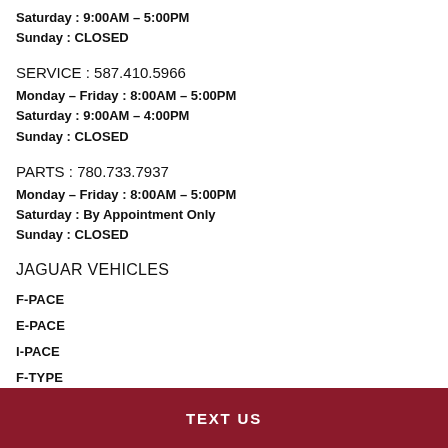Saturday : 9:00AM – 5:00PM
Sunday : CLOSED
SERVICE : 587.410.5966
Monday – Friday : 8:00AM – 5:00PM
Saturday : 9:00AM – 4:00PM
Sunday : CLOSED
PARTS : 780.733.7937
Monday – Friday : 8:00AM – 5:00PM
Saturday : By Appointment Only
Sunday : CLOSED
JAGUAR VEHICLES
F-PACE
E-PACE
I-PACE
F-TYPE
TEXT US